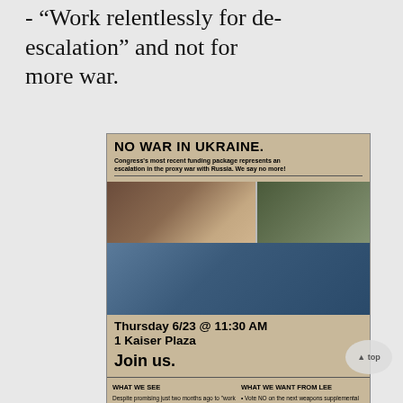- "Work relentlessly for de-escalation" and not for more war.
[Figure (infographic): Anti-war flyer titled 'NO WAR IN UKRAINE.' with event details for Thursday 6/23 @ 11:30 AM at 1 Kaiser Plaza, including composite images of political figures and soldiers, plus two-column layout with 'WHAT WE SEE' and 'WHAT WE WANT FROM LEE' sections.]